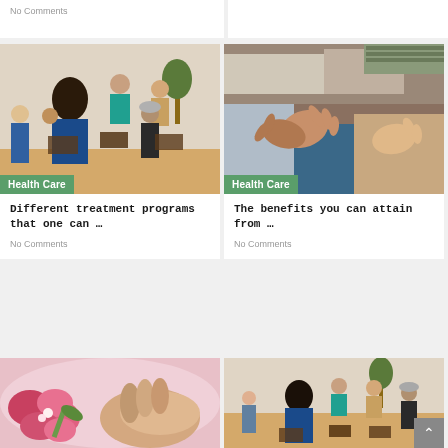No Comments
[Figure (photo): Group therapy session with people sitting in chairs in a circle]
Health Care
Different treatment programs that one can …
No Comments
[Figure (photo): Close-up of hands gesturing in a group discussion setting]
Health Care
The benefits you can attain from …
No Comments
[Figure (photo): Close-up of pink flowers with a hand holding gently]
[Figure (photo): Group therapy session similar to first photo, people sitting in circle]